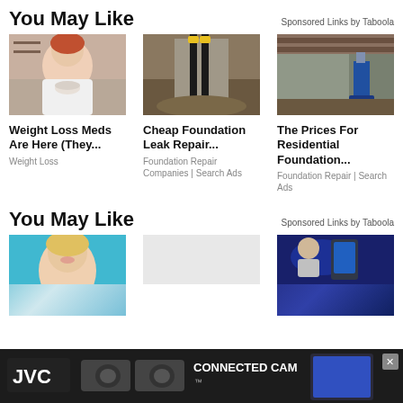You May Like
Sponsored Links by Taboola
[Figure (photo): Woman eating from a bowl, white shirt, red hair]
[Figure (photo): Foundation leak repair construction site with pipes]
[Figure (photo): Residential foundation repair with jack equipment]
Weight Loss Meds Are Here (They...
Weight Loss
Cheap Foundation Leak Repair...
Foundation Repair Companies | Search Ads
The Prices For Residential Foundation...
Foundation Repair | Search Ads
You May Like
Sponsored Links by Taboola
[Figure (photo): Blonde woman smiling on teal background]
[Figure (photo): Tech/security device advertisement]
[Figure (photo): JVC Connected Cam advertisement banner]